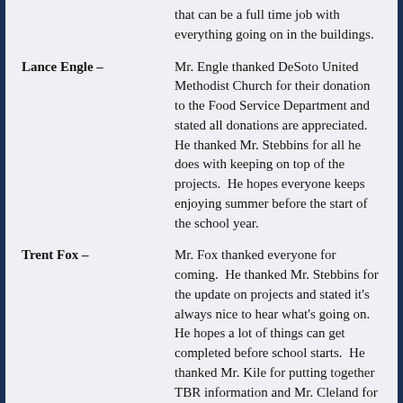that can be a full time job with everything going on in the buildings.
Lance Engle – Mr. Engle thanked DeSoto United Methodist Church for their donation to the Food Service Department and stated all donations are appreciated. He thanked Mr. Stebbins for all he does with keeping on top of the projects. He hopes everyone keeps enjoying summer before the start of the school year.
Trent Fox – Mr. Fox thanked everyone for coming. He thanked Mr. Stebbins for the update on projects and stated it's always nice to hear what's going on. He hopes a lot of things can get completed before school starts. He thanked Mr. Kile for putting together TBR information and Mr. Cleland for being here. He thanked Mr. Marshall and Mrs. Mick for hosting this evening. He thanked Mr. Carter and Mrs. Knuckles for their years of service